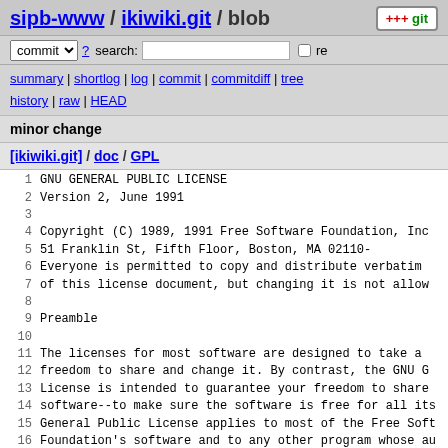sipb-www / ikiwiki.git / blob
commit ? search: re
summary | shortlog | log | commit | commitdiff | tree history | raw | HEAD
minor change
[ikiwiki.git] / doc / GPL
1  GNU GENERAL PUBLIC LICENSE
2  Version 2, June 1991
3
4  Copyright (C) 1989, 1991 Free Software Foundation, Inc
5       51 Franklin St, Fifth Floor, Boston, MA  02110-
6  Everyone is permitted to copy and distribute verbatim
7  of this license document, but changing it is not allow
8
9                          Preamble
10
11    The licenses for most software are designed to take a
12  freedom to share and change it.  By contrast, the GNU G
13  License is intended to guarantee your freedom to share
14  software--to make sure the software is free for all its
15  General Public License applies to most of the Free Soft
16  Foundation's software and to any other program whose au
17  using it.  (Some other Free Software Foundation softwar
18  the GNU Library General Public License instead.)  You c
19  your programs, too.